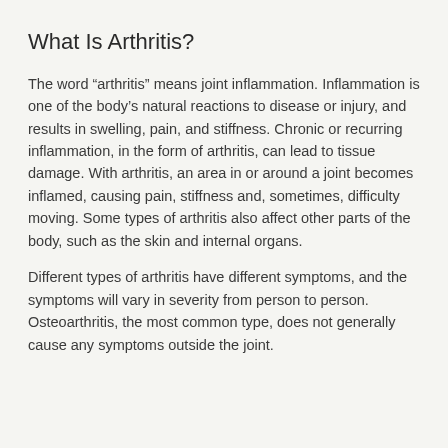What Is Arthritis?
The word “arthritis” means joint inflammation. Inflammation is one of the body’s natural reactions to disease or injury, and results in swelling, pain, and stiffness. Chronic or recurring inflammation, in the form of arthritis, can lead to tissue damage. With arthritis, an area in or around a joint becomes inflamed, causing pain, stiffness and, sometimes, difficulty moving. Some types of arthritis also affect other parts of the body, such as the skin and internal organs.
Different types of arthritis have different symptoms, and the symptoms will vary in severity from person to person. Osteoarthritis, the most common type, does not generally cause any symptoms outside the joint.